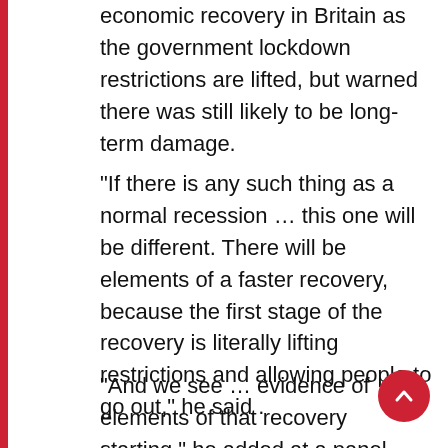economic recovery in Britain as the government lockdown restrictions are lifted, but warned there was still likely to be long-term damage.
“If there is any such thing as a normal recession … this one will be different. There will be elements of a faster recovery, because the first stage of the recovery is literally lifting restrictions and allowing people to go out,” he said .
“And we see … evidence of elements of that recovery starting,” he added at a panel discussion hosted by the World Economic Forum.